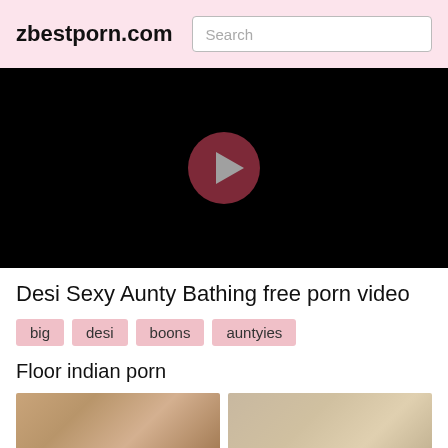zbestporn.com
[Figure (screenshot): Black video player with a dark red circular play button in the center]
Desi Sexy Aunty Bathing free porn video
big
desi
boons
auntyies
Floor indian porn
[Figure (photo): Two thumbnail images side by side showing partial video previews]